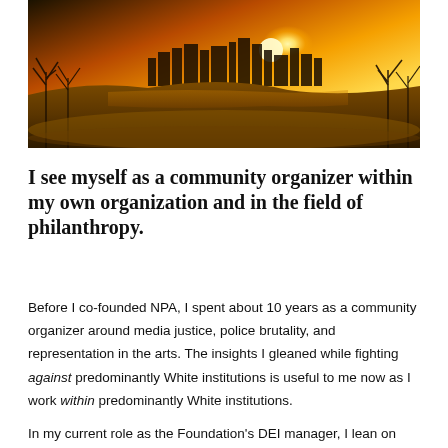[Figure (photo): Panoramic cityscape at golden sunset with bare trees in foreground, city skyline silhouetted against vibrant orange and yellow sky, with a river or lake reflecting the light.]
I see myself as a community organizer within my own organization and in the field of philanthropy.
Before I co-founded NPA, I spent about 10 years as a community organizer around media justice, police brutality, and representation in the arts. The insights I gleaned while fighting against predominantly White institutions is useful to me now as I work within predominantly White institutions.
In my current role as the Foundation's DEI manager, I lean on